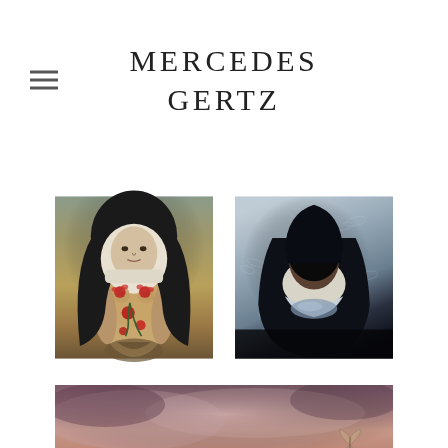MERCEDES GERTZ
[Figure (illustration): Painting of a nude woman wearing a nun's white wimple and black veil, her body adorned with red roses and floral motifs painted on skin]
[Figure (illustration): Painting of a dark-skinned nun with black veil and white collar, head tilted back with eyes closed, surrounded by faint dragonfly or butterfly outlines on a grey-blue background]
[Figure (illustration): Partial view of a third painting showing a moody purple-pink cloudy landscape with a small butterfly or moth visible at bottom right]